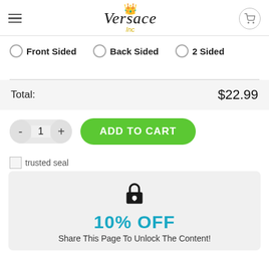Versace Inc — navigation header with logo and cart
Front Sided
Back Sided
2 Sided
Total: $22.99
- 1 + ADD TO CART
[Figure (other): Trusted seal image placeholder]
trusted seal
10% OFF
Share This Page To Unlock The Content!